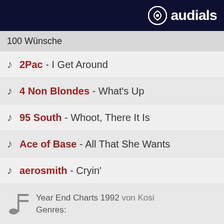audials
100 Wünsche
2Pac - I Get Around
4 Non Blondes - What's Up
95 South - Whoot, There It Is
Ace of Base - All That She Wants
aerosmith - Cryin'
Year End Charts 1992 von Kosi
Genres:
100 Wünsche
Ace of...